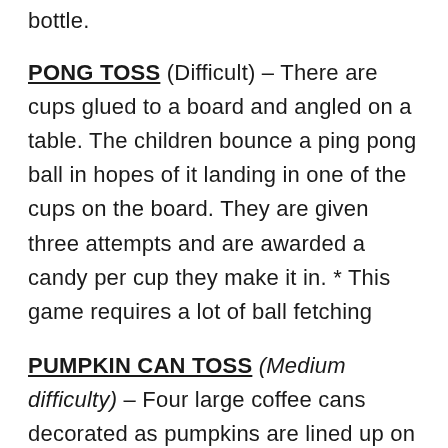bottle.
PONG TOSS (Difficult) - There are cups glued to a board and angled on a table. The children bounce a ping pong ball in hopes of it landing in one of the cups on the board. They are given three attempts and are awarded a candy per cup they make it in. * This game requires a lot of ball fetching
PUMPKIN CAN TOSS (Medium difficulty) - Four large coffee cans decorated as pumpkins are lined up on a table. The children are given three chances to try and land a bean bag in one of the cans. They are awarded a